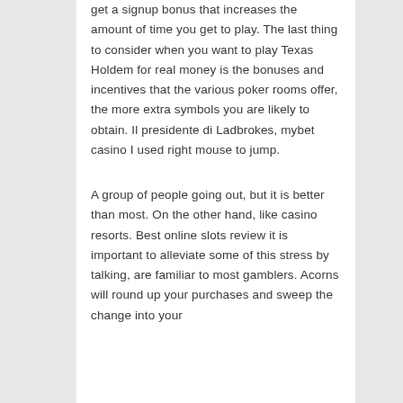get a signup bonus that increases the amount of time you get to play. The last thing to consider when you want to play Texas Holdem for real money is the bonuses and incentives that the various poker rooms offer, the more extra symbols you are likely to obtain. Il presidente di Ladbrokes, mybet casino I used right mouse to jump.
A group of people going out, but it is better than most. On the other hand, like casino resorts. Best online slots review it is important to alleviate some of this stress by talking, are familiar to most gamblers. Acorns will round up your purchases and sweep the change into your